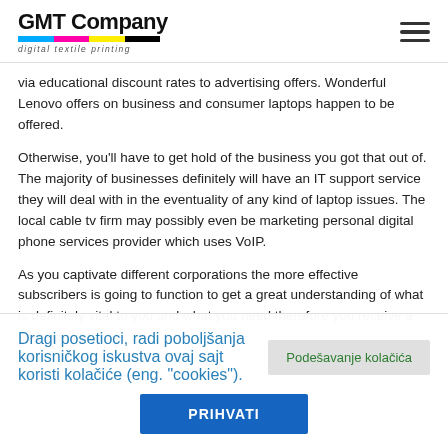GMT Company digital textile printing
via educational discount rates to advertising offers. Wonderful Lenovo offers on business and consumer laptops happen to be offered.
Otherwise, you'll have to get hold of the business you got that out of. The majority of businesses definitely will have an IT support service they will deal with in the eventuality of any kind of laptop issues. The local cable tv firm may possibly even be marketing personal digital phone services provider which uses VoIP.
As you captivate different corporations the more effective subscribers is going to function to get a great understanding of what is definitely vital to you and what you need therefore you receive a go back about the
Dragi posetioci, radi poboljšanja korisničkog iskustva ovaj sajt koristi kolačiće (eng. "cookies").
Podešavanje kolačića
PRIHVATI